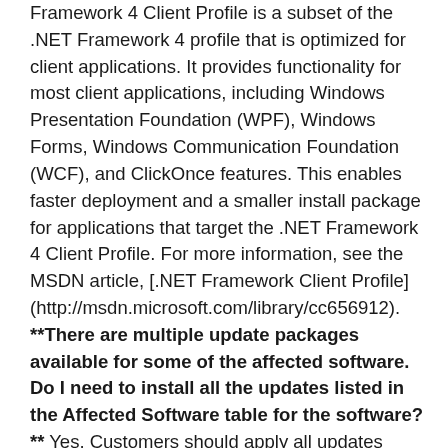Framework 4 Client Profile is a subset of the .NET Framework 4 profile that is optimized for client applications. It provides functionality for most client applications, including Windows Presentation Foundation (WPF), Windows Forms, Windows Communication Foundation (WCF), and ClickOnce features. This enables faster deployment and a smaller install package for applications that target the .NET Framework 4 Client Profile. For more information, see the MSDN article, [.NET Framework Client Profile](http://msdn.microsoft.com/library/cc656912). **There are multiple update packages available for some of the affected software. Do I need to install all the updates listed in the Affected Software table for the software?** Yes. Customers should apply all updates offered for the software installed on their systems. **Do I need to install these security updates in a particular sequence?** No. Multiple updates for a given system can be applied in any sequence. **I am using an older release of the software discussed in